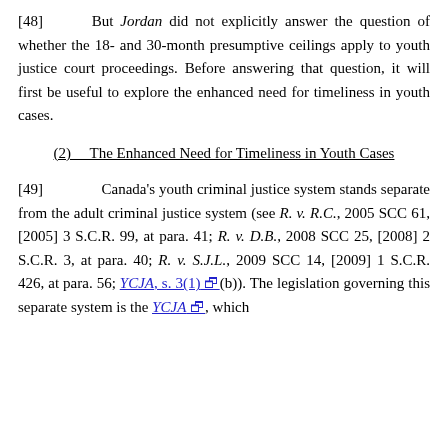[48]   But Jordan did not explicitly answer the question of whether the 18- and 30-month presumptive ceilings apply to youth justice court proceedings. Before answering that question, it will first be useful to explore the enhanced need for timeliness in youth cases.
(2)   The Enhanced Need for Timeliness in Youth Cases
[49]   Canada's youth criminal justice system stands separate from the adult criminal justice system (see R. v. R.C., 2005 SCC 61, [2005] 3 S.C.R. 99, at para. 41; R. v. D.B., 2008 SCC 25, [2008] 2 S.C.R. 3, at para. 40; R. v. S.J.L., 2009 SCC 14, [2009] 1 S.C.R. 426, at para. 56; YCJA, s. 3(1) (b)). The legislation governing this separate system is the YCJA , which